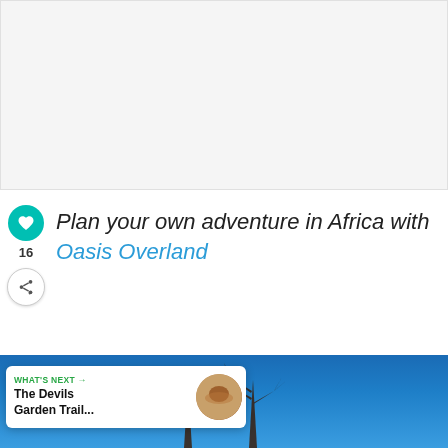[Figure (photo): Large light gray placeholder image area at the top of the page]
Plan your own adventure in Africa with Oasis Overland
16
[Figure (photo): Bottom photo showing dead tree silhouettes against a blue sky, desert landscape]
WHAT'S NEXT → The Devils Garden Trail...